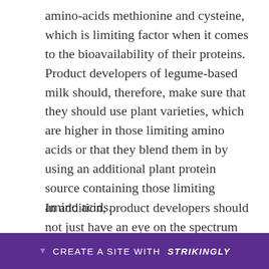amino-acids methionine and cysteine, which is limiting factor when it comes to the bioavailability of their proteins. Product developers of legume-based milk should, therefore, make sure that they should use plant varieties, which are higher in those limiting amino acids or that they blend them in by using an additional plant protein source containing those limiting amino acids.
In addition, product developers should not just have an eye on the spectrum and sequence of the amino acids because of the nutritional value of the f... they are ...